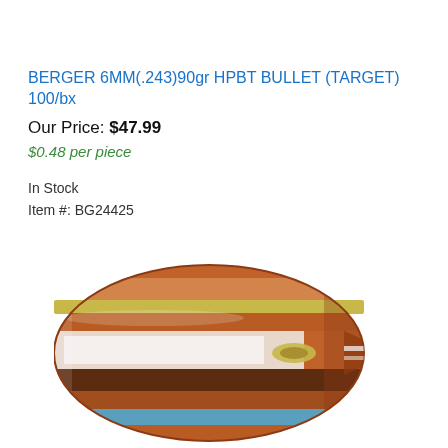BERGER 6MM(.243)90gr HPBT BULLET (TARGET) 100/bx
Our Price: $47.99
$0.48 per piece
In Stock
Item #: BG24425
[Figure (illustration): Cross-section illustration of a Berger 6MM HPBT bullet showing internal layers in copper, brown, yellow, blue, and white colors, viewed from the side with the boat-tail base facing right.]